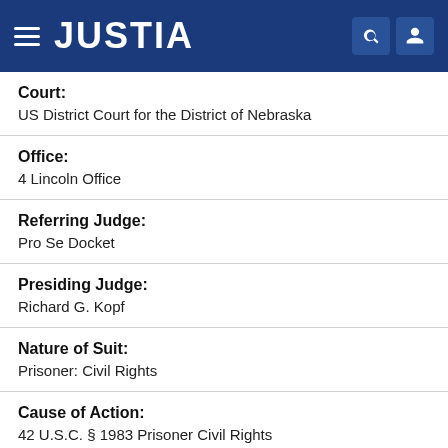JUSTIA
| Field | Value |
| --- | --- |
| Court: | US District Court for the District of Nebraska |
| Office: | 4 Lincoln Office |
| Referring Judge: | Pro Se Docket |
| Presiding Judge: | Richard G. Kopf |
| Nature of Suit: | Prisoner: Civil Rights |
| Cause of Action: | 42 U.S.C. § 1983 Prisoner Civil Rights |